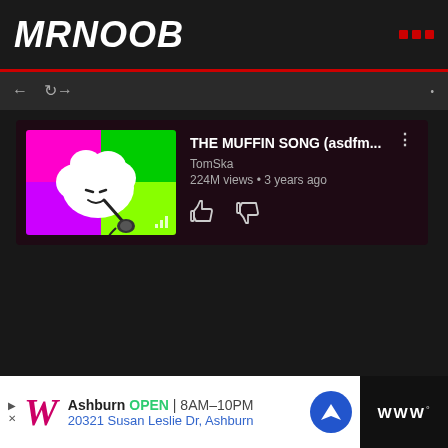MRNOOB
[Figure (screenshot): YouTube app screenshot showing a video card for 'THE MUFFIN SONG (asdfm...' by TomSka with 224M views • 3 years ago, with thumbs up and thumbs down icons, and a thumbnail showing an animated sheep holding a microphone on a colorful background]
[Figure (screenshot): Advertisement bar at the bottom showing Walgreens ad: Ashburn OPEN 8AM-10PM, 20321 Susan Leslie Dr, Ashburn, with navigation icon]